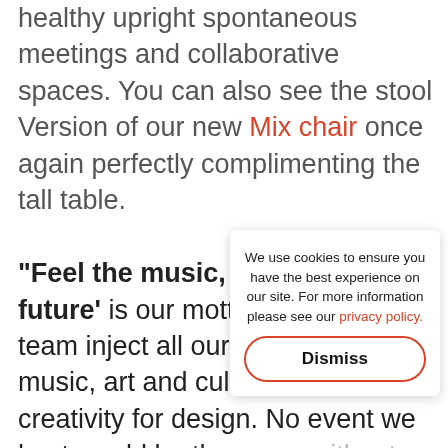healthy upright spontaneous meetings and collaborative spaces. You can also see the stool Version of our new Mix chair once again perfectly complimenting the tall table.

"Feel the music, design the future' is our motto. The Muzo team inject all our passion for music, art and culture into our creativity for design. No event we host would be the same w... fun and joy into the proce... we hold the title of 'the co... world' and we are proud o... forming friendships and lis... and needs is how we thriv... If there's a new lesson we... that our Versatilis tables also make for a
We use cookies to ensure you have the best experience on our site. For more information please see our privacy policy.
Dismiss